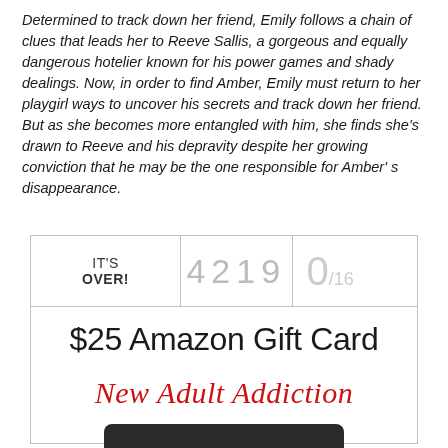Determined to track down her friend, Emily follows a chain of clues that leads her to Reeve Sallis, a gorgeous and equally dangerous hotelier known for his power games and shady dealings. Now, in order to find Amber, Emily must return to her playgirl ways to uncover his secrets and track down her friend. But as she becomes more entangled with him, she finds she's drawn to Reeve and his depravity despite her growing conviction that he may be the one responsible for Amber's disappearance.
[Figure (other): Giveaway widget showing IT'S OVER! status, entry count 4219, ratio 0/16, prize $25 Amazon Gift Card, New Adult Addiction branding, phone image at bottom.]